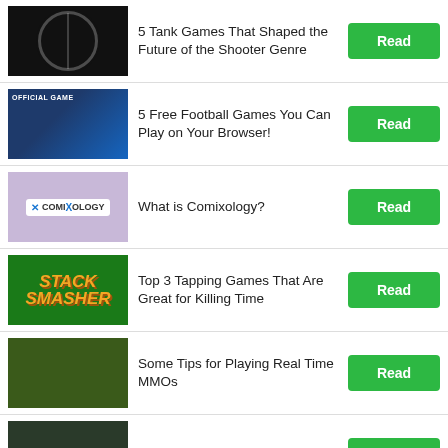5 Tank Games That Shaped the Future of the Shooter Genre
5 Free Football Games You Can Play on Your Browser!
What is Comixology?
Top 3 Tapping Games That Are Great for Killing Time
Some Tips for Playing Real Time MMOs
Games Like Bravo Storm
Why Horse Adventure: Tale of Etria Should be Brought back